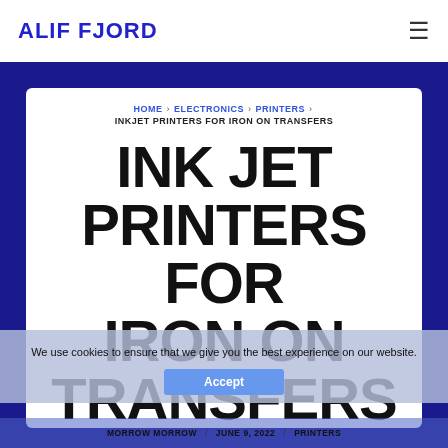ALIF FJORD
HOME › ELECTRONICS › PRINTERS › INKJET PRINTERS FOR IRON ON TRANSFERS
INK JET PRINTERS FOR IRON ON TRANSFERS
We use cookies to ensure that we give you the best experience on our website.
Accept
MORROW MORROW / JUNE 9, 2022 / PRINTERS